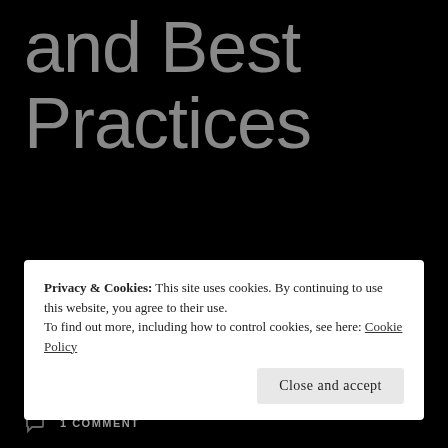and Best Practices
ENTERPRISE ARCHITECTURE
ENTERPRISE ARCHITECTURE, ISCHOOL, T-MOBILE, VERIZON
1 COMMENT
Privacy & Cookies: This site uses cookies. By continuing to use this website, you agree to their use.
To find out more, including how to control cookies, see here: Cookie Policy
Close and accept